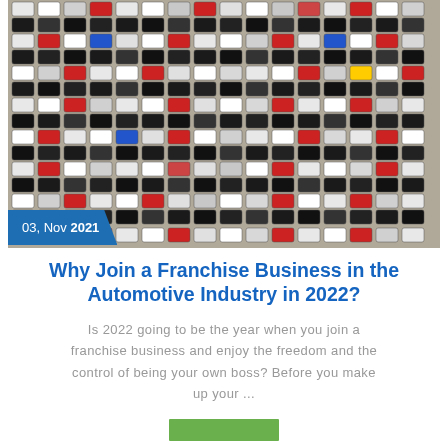[Figure (photo): Aerial view of a large car lot or parking area filled with hundreds of densely packed cars in rows, viewed from above. Cars are various colors including white, red, blue, and black.]
03, Nov 2021
Why Join a Franchise Business in the Automotive Industry in 2022?
Is 2022 going to be the year when you join a franchise business and enjoy the freedom and the control of being your own boss? Before you make up your ...
[Figure (other): Green read-more button bar]